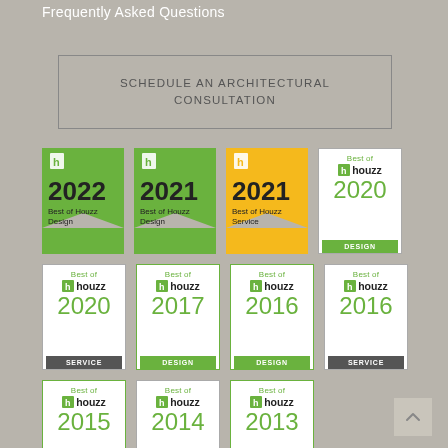Frequently Asked Questions
SCHEDULE AN ARCHITECTURAL CONSULTATION
[Figure (logo): Collection of Best of Houzz badges: 2022 Design (green banner), 2021 Design (green banner), 2021 Service (yellow/orange banner), 2020 Design (white square), 2020 Service (white square dark bottom), 2017 Design (white square green bottom), 2016 Design (white square green bottom), 2016 Service (white square dark bottom), 2015 Design (white square green bottom), 2014 Service (white square dark bottom), 2013 Design (white square green bottom)]